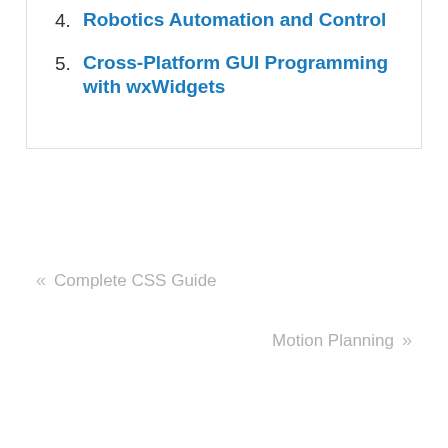4. Robotics Automation and Control
5. Cross-Platform GUI Programming with wxWidgets
« Complete CSS Guide
Motion Planning »